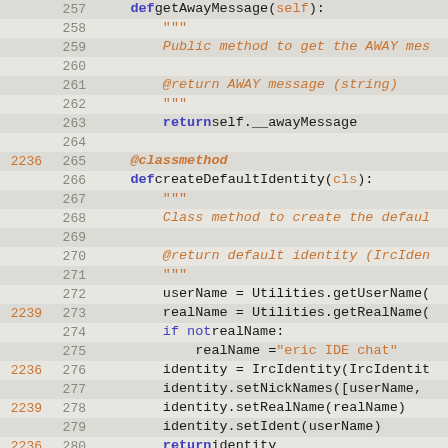[Figure (screenshot): Python source code viewer showing lines 257–286 with blame annotations (line change numbers in orange), line numbers in gray, and syntax-highlighted Python code on a beige/gray background. Shows methods getAwayMessage, createDefaultIdentity, and class IrcServer.]